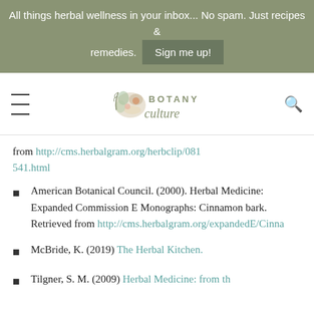All things herbal wellness in your inbox... No spam. Just recipes & remedies. Sign me up!
[Figure (logo): Botany Culture logo with floral illustration and text BOTANY culture]
from http://cms.herbalgram.org/herbclip/541/0815541.html
American Botanical Council. (2000). Herbal Medicine: Expanded Commission E Monographs: Cinnamon bark. Retrieved from http://cms.herbalgram.org/expandedE/Cinna
McBride, K. (2019) The Herbal Kitchen.
Tilgner, S. M. (2009) Herbal Medicine: from the...